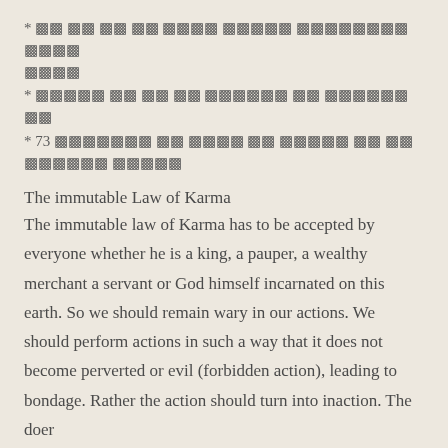* ▩▩ ▩▩ ▩▩ ▩▩ ▩▩▩▩ ▩▩▩▩▩ ▩▩▩▩▩▩▩▩ ▩▩▩▩ ▩▩▩▩
* ▩▩▩▩▩ ▩▩ ▩▩ ▩▩ ▩▩▩▩▩▩ ▩▩ ▩▩▩▩▩▩ ▩▩
* 73 ▩▩▩▩▩▩▩ ▩▩ ▩▩▩▩ ▩▩ ▩▩▩▩▩ ▩▩ ▩▩ ▩▩▩▩▩▩ ▩▩▩▩▩
The immutable Law of Karma
The immutable law of Karma has to be accepted by everyone whether he is a king, a pauper, a wealthy merchant a servant or God himself incarnated on this earth. So we should remain wary in our actions. We should perform actions in such a way that it does not become perverted or evil (forbidden action), leading to bondage. Rather the action should turn into inaction. The doer